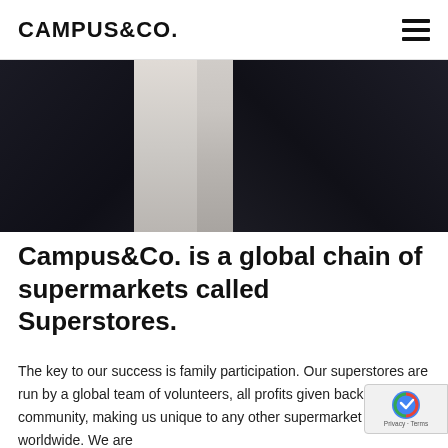CAMPUS&CO.
[Figure (photo): Cropped photo of a person in a dark suit jacket with a white shirt visible in the center, photographed from chest level]
Campus&Co. is a global chain of supermarkets called Superstores.
The key to our success is family participation. Our superstores are run by a global team of volunteers, all profits given back to the community, making us unique to any other supermarket chain worldwide. We are